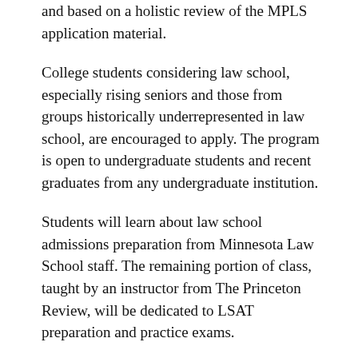and based on a holistic review of the MPLS application material.
College students considering law school, especially rising seniors and those from groups historically underrepresented in law school, are encouraged to apply. The program is open to undergraduate students and recent graduates from any undergraduate institution.
Students will learn about law school admissions preparation from Minnesota Law School staff. The remaining portion of class, taught by an instructor from The Princeton Review, will be dedicated to LSAT preparation and practice exams.
There is no cost to participate in MPLS. However, participants must submit a $100 seat deposit which is fully refundable upon successful